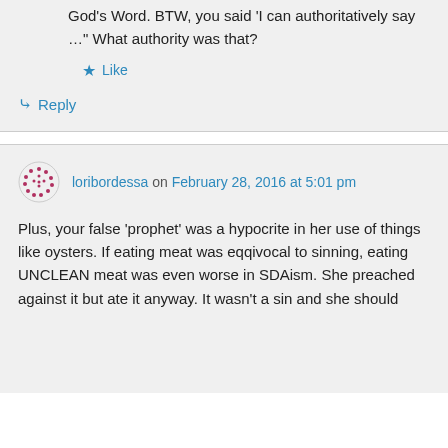God's Word. BTW, you said 'I can authoritatively say …" What authority was that?
Like
Reply
loribordessa on February 28, 2016 at 5:01 pm
Plus, your false 'prophet' was a hypocrite in her use of things like oysters. If eating meat was eqqivocal to sinning, eating UNCLEAN meat was even worse in SDAism. She preached against it but ate it anyway. It wasn't a sin and she should